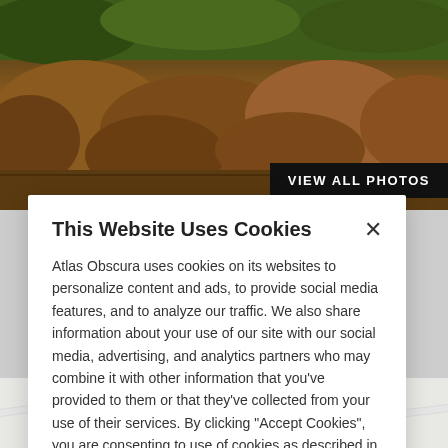[Figure (photo): Outdoor nature photo showing brown and green shrubs/heathland vegetation]
VIEW ALL PHOTOS
This Website Uses Cookies
Atlas Obscura uses cookies on its websites to personalize content and ads, to provide social media features, and to analyze our traffic. We also share information about your use of our site with our social media, advertising, and analytics partners who may combine it with other information that you've provided to them or that they've collected from your use of their services. By clicking "Accept Cookies", you are consenting to use of cookies as described in our Cookie Policy. View Cookie Policy
Manage Preferences
Allow Cookies
[Figure (map): Map snippet showing location marker and Ergravia label]